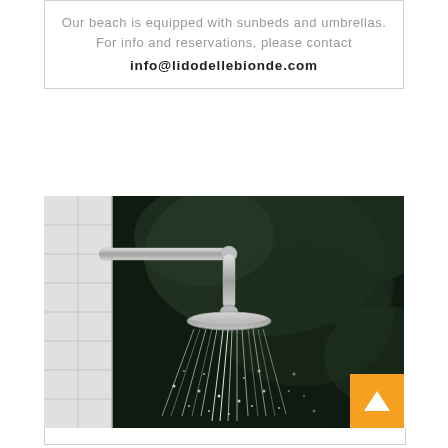Our beach is equipped with sunbeds and umbrellas. For info and reservations, please contact info@lidodellebionde.com
[Figure (photo): A chrome rain shower head outdoors in front of a dark green blurred foliage background. The shower is running with sparkling water streaming downward. A white tiled wall is visible on the left. An orange button with an upward arrow is in the bottom-right corner of the photo.]